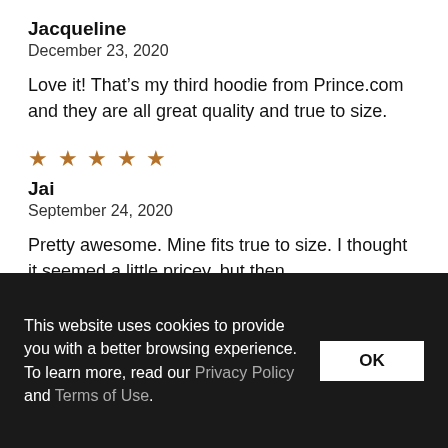Jacqueline
December 23, 2020
Love it! That’s my third hoodie from Prince.com and they are all great quality and true to size.
[Figure (other): Five gold/brown star rating icons]
Jai
September 24, 2020
Pretty awesome. Mine fits true to size. I thought it seemed a little pricey, but then
This website uses cookies to provide you with a better browsing experience. To learn more, read our Privacy Policy and Terms of Use.